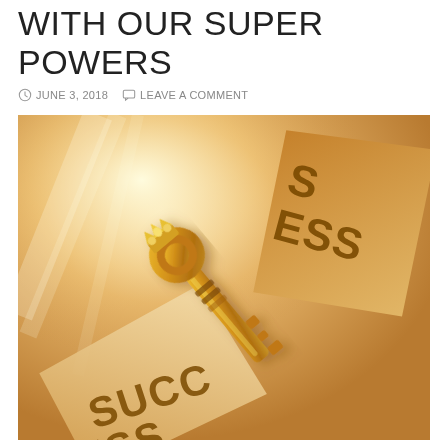WITH OUR SUPER POWERS
JUNE 3, 2018   LEAVE A COMMENT
[Figure (photo): A golden antique key resting diagonally on two torn pieces of paper that read 'SUCCESS', on a warm amber-toned background with soft light rays.]